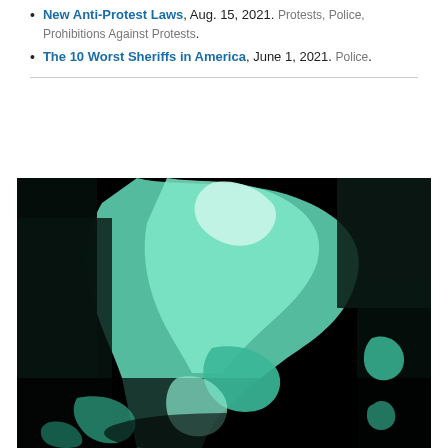New Anti-Protest Laws, Aug. 15, 2021. Protests, Police, Prohibitions Against Protests.
The 10 Worst Sheriffs in America, June 1, 2021. Police.
[Figure (photo): High-contrast stylized photo showing a figure in dark clothing, rendered in black and teal/mint green tones, appearing to depict a protest or police interaction scene.]